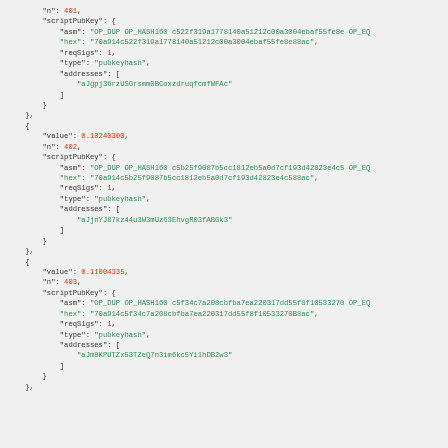JSON code block showing Bitcoin transaction outputs with scriptPubKey data for outputs n:401, n:402, and n:403